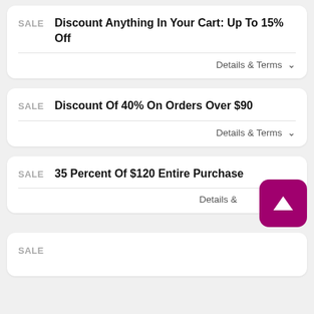SALE
Discount Anything In Your Cart: Up To 15% Off
Details & Terms ∨
SALE
Discount Of 40% On Orders Over $90
Details & Terms ∨
SALE
35 Percent Of $120 Entire Purchase
Details &
[Figure (other): Scroll-to-top button with upward triangle arrow, magenta/pink background]
SALE